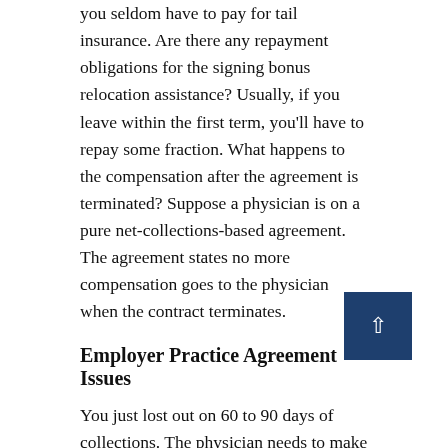you seldom have to pay for tail insurance. Are there any repayment obligations for the signing bonus relocation assistance? Usually, if you leave within the first term, you'll have to repay some fraction. What happens to the compensation after the agreement is terminated? Suppose a physician is on a pure net-collections-based agreement. The agreement states no more compensation goes to the physician when the contract terminates.
Employer Practice Agreement Issues
You just lost out on 60 to 90 days of collections. The physician needs to make certain that there's some kind of window. If they're on net-collections after the contract terminates, they can continue to get the revenue they generated. Also, if you